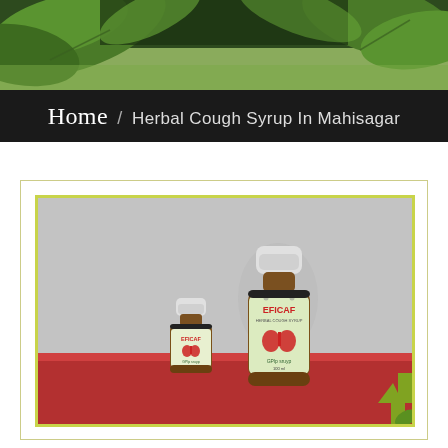[Figure (photo): Green leaves background photo used as top banner image]
Home / Herbal Cough Syrup In Mahisagar
[Figure (photo): Product photo showing two amber glass bottles of EFICAF herbal cough syrup — one small and one large — with white caps and teal/green labels featuring a red lungs graphic, placed on a red surface against a gray wall background]